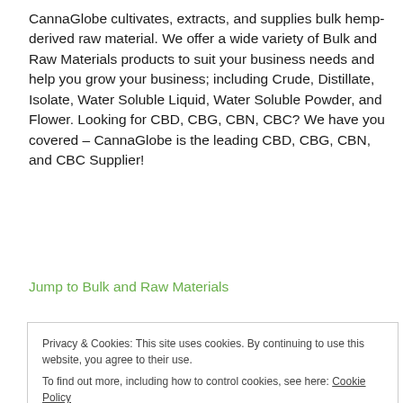CannaGlobe cultivates, extracts, and supplies bulk hemp-derived raw material. We offer a wide variety of Bulk and Raw Materials products to suit your business needs and help you grow your business; including Crude, Distillate, Isolate, Water Soluble Liquid, Water Soluble Powder, and Flower. Looking for CBD, CBG, CBN, CBC? We have you covered – CannaGlobe is the leading CBD, CBG, CBN, and CBC Supplier!
Jump to Bulk and Raw Materials
STARTER PACKS – SAVE 20%
Privacy & Cookies: This site uses cookies. By continuing to use this website, you agree to their use. To find out more, including how to control cookies, see here: Cookie Policy
Close and Accept
in your store for a profit.